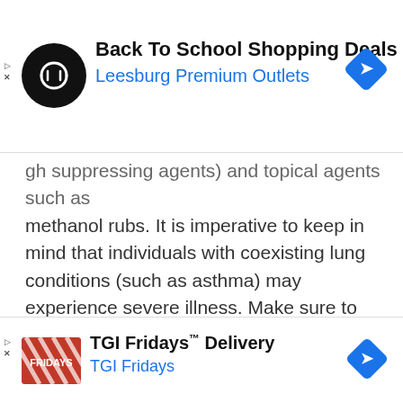[Figure (screenshot): Top advertisement banner: Back To School Shopping Deals - Leesburg Premium Outlets, with circular black logo and blue diamond arrow icon]
gh suppressing agents) and topical agents such as methanol rubs. It is imperative to keep in mind that individuals with coexisting lung conditions (such as asthma) may experience severe illness. Make sure to see a doctor if your symptoms are not responding to OTC agents. Do not administer any OTC drug to children under the age of 4 years.
[Figure (photo): Photo of a glass medicine bottle being poured, with red liquid cough syrup, partially cropped, with Pinterest logo watermark in upper right]
[Figure (screenshot): Bottom advertisement banner: TGI Fridays Delivery - TGI Fridays, with striped red logo and blue diamond arrow icon]